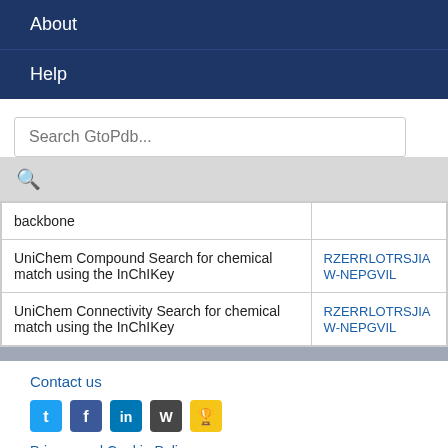About
Help
Search GtoPdb...
| Description | Link |
| --- | --- |
| backbone |  |
| UniChem Compound Search for chemical match using the InChIKey | RZERRLOTRSJIA W-NEPGVIL |
| UniChem Connectivity Search for chemical match using the InChIKey | RZERRLOTRSJIA W-NEPGVIL |
Contact us
Privacy and Cookie Policy